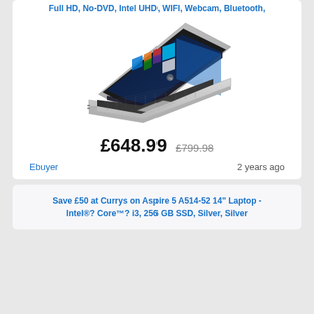Full HD, No-DVD, Intel UHD, WIFI, Webcam, Bluetooth,
[Figure (photo): HP laptop open, showing Windows 10 Start menu on the screen, silver body, photographed at an angle from the front-left]
£648.99  £799.98
Ebuyer   2 years ago
Save £50 at Currys on Aspire 5 A514-52 14" Laptop - Intel®? Core™? i3, 256 GB SSD, Silver, Silver